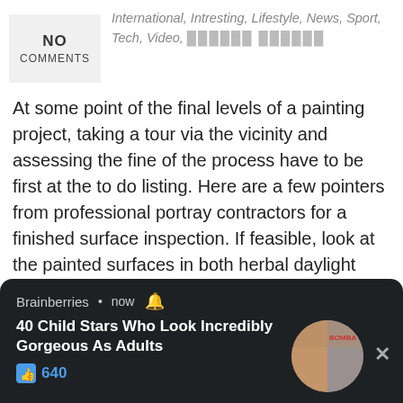NO COMMENTS
International, Intresting, Lifestyle, News, Sport, Tech, Video,
At some point of the final levels of a painting project, taking a tour via the vicinity and assessing the fine of the process have to be first at the to do listing. Here are a few pointers from professional portray contractors for a finished surface inspection. If feasible, look at the painted surfaces in both herbal daylight hours and synthetic mild. Specific anomalies can be visible in exceptional lighting situations. Even insurance search for paint coverage it really is
strains of the paint task are smooth and even
Brainberries • now 🔔
40 Child Stars Who Look Incredibly Gorgeous As Adults
👍 640